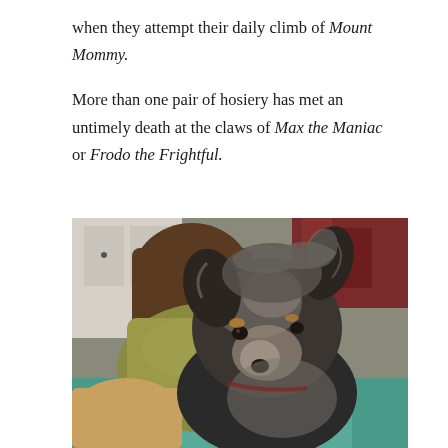when they attempt their daily climb of Mount Mommy.
More than one pair of hosiery has met an untimely death at the claws of Max the Maniac  or Frodo the Frightful.
[Figure (photo): Close-up photo of a small scruffy black and tan terrier-mix dog looking up at the camera, sitting in a dog bed with a greenish-gold pillow behind it and colorful fabric/clothing visible in the background.]